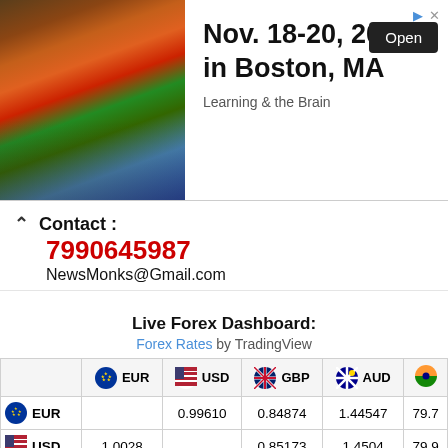[Figure (illustration): Advertisement banner for Learning & the Brain event Nov. 18-20, 2022 in Boston, MA with autumn foliage photo and Open button]
Contact :
7990645987
NewsMonks@Gmail.com
Live Forex Dashboard:
Forex Rates by TradingView
|  | EUR | USD | GBP | AUD | INR(partial) |
| --- | --- | --- | --- | --- | --- |
| EUR |  | 0.99610 | 0.84874 | 1.44547 | 79.7... |
| USD | 1.0028 |  | 0.85173 | 1.4504 | 79.9... |
| GBP | 1.1778 | 1.1740 |  | 1.703150 | 93.8... |
| AUD | 0.6915 | 0.68900 | 0.5867 |  | 55.1... |
| INR | 0.012541 | 0.01250 | 0.010649 | 0.01810 |  |